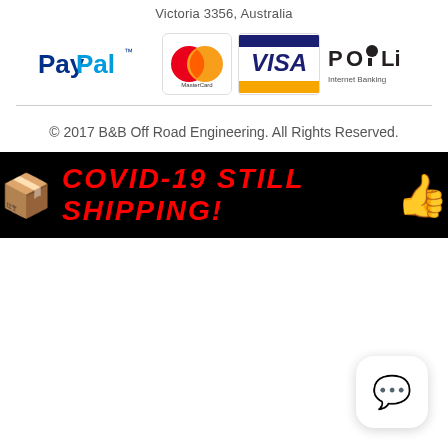Victoria 3356, Australia
[Figure (logo): Payment logos: PayPal, MasterCard, VISA, POLi Internet Banking]
© 2017 B&B Off Road Engineering. All Rights Reserved.
[Figure (infographic): Black banner with red bold italic text: COVID-19 STILL SHIPPING! with a cardboard box emoji on the left and a thumbs-up emoji on the right.]
[Figure (other): Chat widget button with purple speech bubble icons on white rounded square background.]